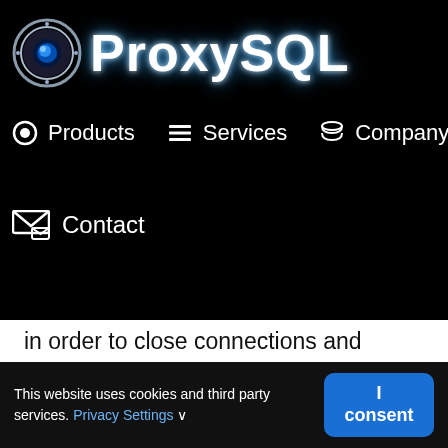[Figure (logo): ProxySQL logo with circular blue/white swirl icon and ProxySQL text in white with blue glow on black background]
Products  Services  Company
Contact
in order to close connections and reconnect when specific errors are reported (ER_OPTION_PREVENTS_STATEMENT 1290, CR_CONN_HOST_ERROR
This website uses cookies and third party services. Privacy Settings
I consent